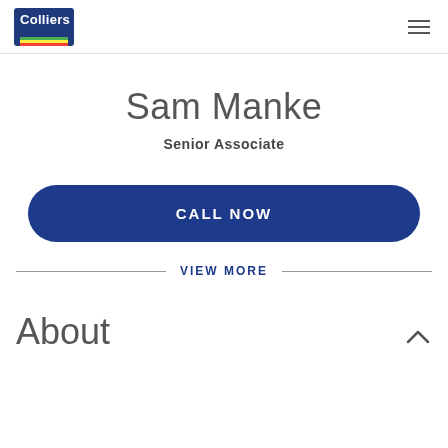Colliers
Sam Manke
Senior Associate
CALL NOW
VIEW MORE
About